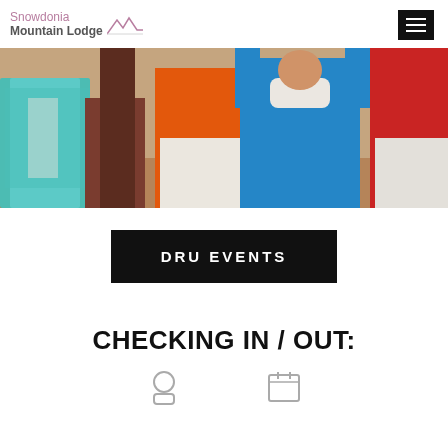Snowdonia Mountain Lodge
[Figure (photo): Group of people dancing or doing aerobic exercise with arms raised, wearing colorful tops (teal, red, orange, blue, red), indoor setting with wooden floor.]
DRU EVENTS
CHECKING IN / OUT: